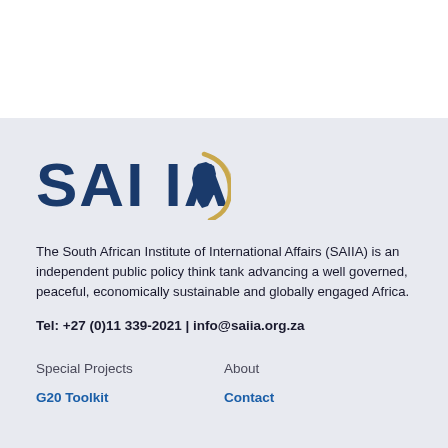[Figure (logo): SAIIA logo — bold dark blue text 'SAI IA' with a gold Africa map and arc graphic]
The South African Institute of International Affairs (SAIIA) is an independent public policy think tank advancing a well governed, peaceful, economically sustainable and globally engaged Africa.
Tel: +27 (0)11 339-2021 | info@saiia.org.za
Special Projects
About
G20 Toolkit
Contact